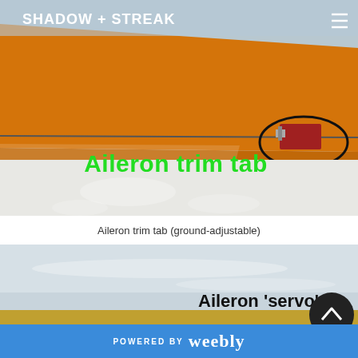[Figure (photo): Close-up photo of an orange aircraft wing with a small red aileron trim tab visible at the trailing edge, circled in black. Green text overlay reads 'Aileron trim tab'. White text 'SHADOW + STREAK' and a menu icon overlay the top of the image.]
Aileron trim tab (ground-adjustable)
[Figure (photo): Partial photo of aircraft in flight against a light blue sky with faint clouds. Black text overlay reads "Aileron 'servo' t" (partially visible). A yellow horizontal element is at the bottom of the image.]
POWERED BY weebly